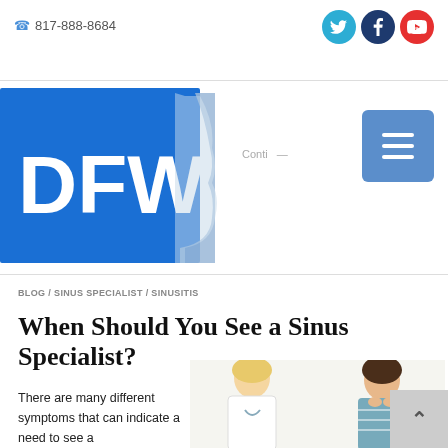817-888-8684
[Figure (logo): DFW logo — blue rectangle with white 'DFW' text and a grey silhouette of a face profile]
Conti
[Figure (other): Hamburger menu button (three horizontal white lines on blue rounded-rectangle background)]
BLOG / SINUS SPECIALIST / SINUSITIS
When Should You See a Sinus Specialist?
There are many different symptoms that can indicate a need to see a
[Figure (photo): A female doctor (blonde) examining a female patient who is pressing her fingers to her sinus area near her nose, indicating sinus pain.]